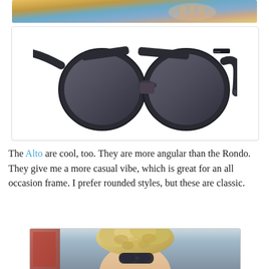[Figure (photo): Partial top image showing colorful background with a hand visible, cropped at top of page]
[Figure (photo): Product photo of Bose Rondo smart audio sunglasses with round dark lenses and thick black frames on white background]
The Alto are cool, too. They are more angular than the Rondo. They give me a more casual vibe, which is great for an all occasion frame. I prefer rounded styles, but these are classic.
[Figure (photo): Photo of a person with short curly blonde hair wearing sunglasses, partial view cropped at bottom of page]